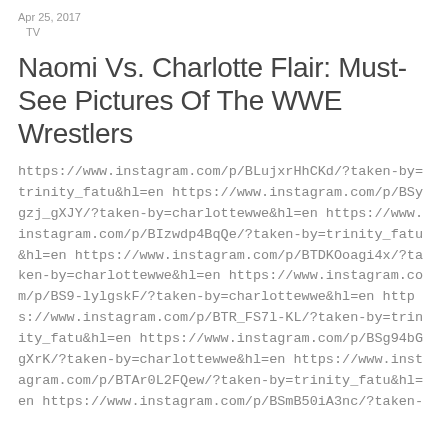Apr 25, 2017
  TV
Naomi Vs. Charlotte Flair: Must-See Pictures Of The WWE Wrestlers
https://www.instagram.com/p/BLujxrHhCKd/?taken-by=trinity_fatu&hl=en https://www.instagram.com/p/BSygzj_gXJY/?taken-by=charlottewwe&hl=en https://www.instagram.com/p/BIzwdp4BqQe/?taken-by=trinity_fatu&hl=en https://www.instagram.com/p/BTDKOoagi4x/?taken-by=charlottewwe&hl=en https://www.instagram.com/p/BS9-lylgskF/?taken-by=charlottewwe&hl=en https://www.instagram.com/p/BTR_FS7l-KL/?taken-by=trinity_fatu&hl=en https://www.instagram.com/p/BSg94bGgXrK/?taken-by=charlottewwe&hl=en https://www.instagram.com/p/BTAr0L2FQew/?taken-by=trinity_fatu&hl=en https://www.instagram.com/p/BSmB50iA3nc/?taken-